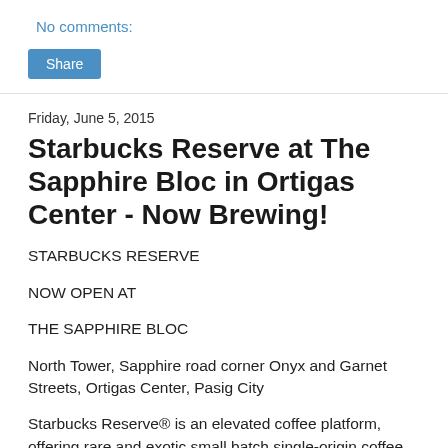No comments:
Share
Friday, June 5, 2015
Starbucks Reserve at The Sapphire Bloc in Ortigas Center - Now Brewing!
STARBUCKS RESERVE
NOW OPEN AT
THE SAPPHIRE BLOC
North Tower, Sapphire road corner Onyx and Garnet Streets, Ortigas Center, Pasig City
Starbucks Reserve® is an elevated coffee platform, offering rare and exotic small batch single-origin coffee beans craftily brewed through the